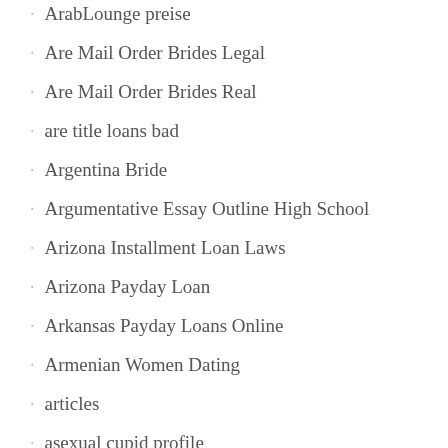ArabLounge preise
Are Mail Order Brides Legal
Are Mail Order Brides Real
are title loans bad
Argentina Bride
Argumentative Essay Outline High School
Arizona Installment Loan Laws
Arizona Payday Loan
Arkansas Payday Loans Online
Armenian Women Dating
articles
asexual cupid profile